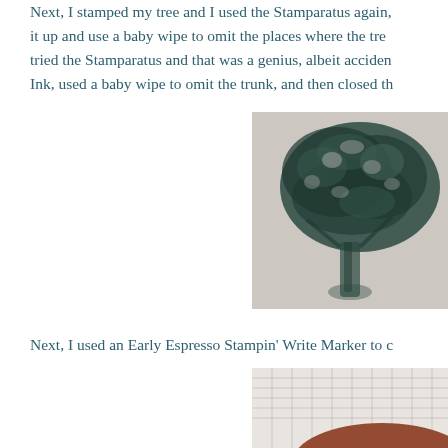Next, I stamped my tree and I used the Stamparatus again, it up and use a baby wipe to omit the places where the tre tried the Stamparatus and that was a genius, albeit acciden Ink, used a baby wipe to omit the trunk, and then closed th
[Figure (photo): A stamped tree image showing a large oak-like tree with dark ink on light/grey background. The tree has a full canopy of leaves and a visible trunk, rendered in dark teal/black stamp ink.]
Next, I used an Early Espresso Stampin' Write Marker to c
[Figure (photo): Partial photo at bottom right showing what appears to be a plaid/grid patterned paper with a reddish-brown curved shape visible at the bottom.]